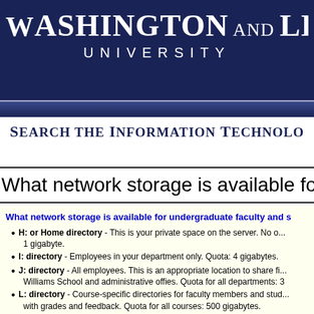WASHINGTON AND LEE UNIVERSITY
Search the Information Technology
What network storage is available for
What network storage is available for undergraduate faculty and s
H: or Home directory  - This is your private space on the server. No o... 1 gigabyte.
I: directory - Employees in your department only. Quota: 4 gigabytes.
J: directory - All employees.  This is an appropriate location to share fi... Williams School and administrative offies. Quota for all departments: 3
L: directory  - Course-specific directories for faculty members and stud... with grades and feedback.  Quota for all courses: 500 gigabytes.
Note: Quotas can be increased, based on demonstrated need. Please enter a
Applies To: Faculty, Staff